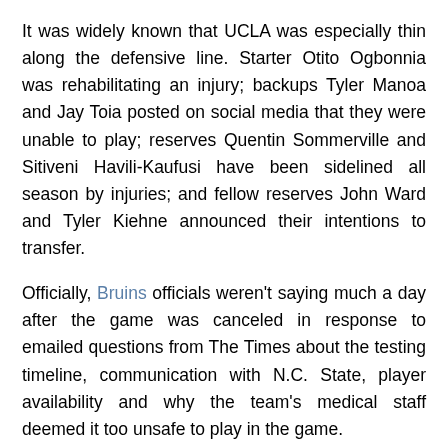It was widely known that UCLA was especially thin along the defensive line. Starter Otito Ogbonnia was rehabilitating an injury; backups Tyler Manoa and Jay Toia posted on social media that they were unable to play; reserves Quentin Sommerville and Sitiveni Havili-Kaufusi have been sidelined all season by injuries; and fellow reserves John Ward and Tyler Kiehne announced their intentions to transfer.
Officially, Bruins officials weren't saying much a day after the game was canceled in response to emailed questions from The Times about the testing timeline, communication with N.C. State, player availability and why the team's medical staff deemed it too unsafe to play in the game.
“On Tuesday, medical staff let us know that it was unsafe for student-athletes to compete based on COVID protocols